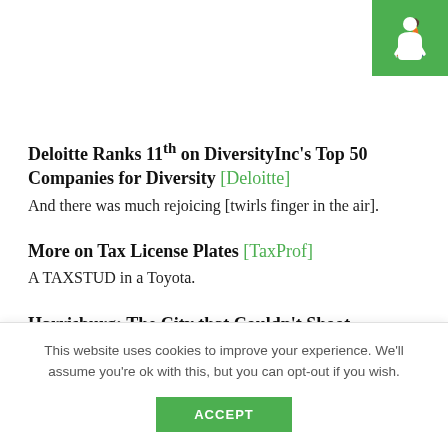[Figure (logo): Green square logo with a white stylized person/figure icon (Greenpeace or similar site logo)]
Deloitte Ranks 11th on DiversityInc's Top 50 Companies for Diversity [Deloitte]
And there was much rejoicing [twirls finger in the air].
More on Tax License Plates [TaxProf]
A TAXSTUD in a Toyota.
Harrisburg: The City that Couldn't Shoot Straight? [CFO]
This website uses cookies to improve your experience. We'll assume you're ok with this, but you can opt-out if you wish.